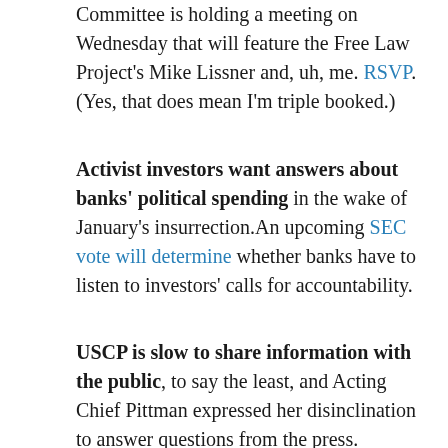Committee is holding a meeting on Wednesday that will feature the Free Law Project's Mike Lissner and, uh, me. RSVP. (Yes, that does mean I'm triple booked.)
Activist investors want answers about banks' political spending in the wake of January's insurrection. An upcoming SEC vote will determine whether banks have to listen to investors' calls for accountability.
USCP is slow to share information with the public, to say the least, and Acting Chief Pittman expressed her disinclination to answer questions from the press. Buzzfeed's Jason Leopold is turning to the courts for relief, filing a federal common law right of access suit to access information that by law (in some